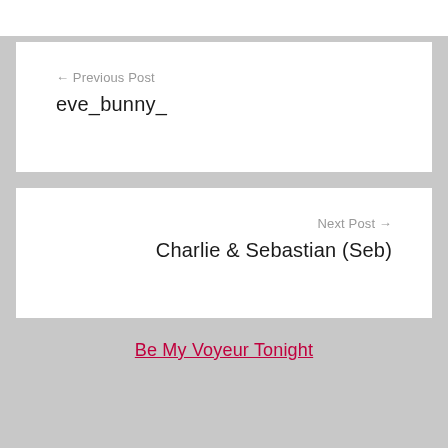← Previous Post
eve_bunny_
Next Post →
Charlie & Sebastian (Seb)
Be My Voyeur Tonight